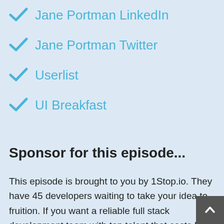Jane Portman LinkedIn
Jane Portman Twitter
Userlist
UI Breakfast
Sponsor for this episode...
This episode is brought to you by 1Stop.io. They have 45 developers waiting to take your idea to fruition. If you want a reliable full stack development team with top talent that costs half as much as in house developers, and you don't want to worry about managing freelancers and want to simply deal with the